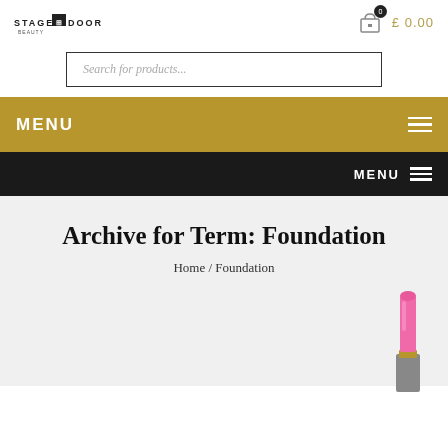STAGE DOOR · £ 0.00
Search for products...
MENU
MENU
Archive for Term: Foundation
Home / Foundation
[Figure (illustration): Pink lipstick product image in bottom-right corner]